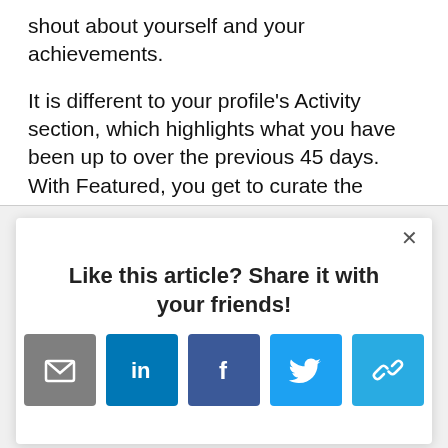shout about yourself and your achievements.
It is different to your profile's Activity section, which highlights what you have been up to over the previous 45 days. With Featured, you get to curate the content that others see.
[Figure (screenshot): A modal overlay with heading 'Like this article? Share it with your friends!' and five social sharing icon buttons: email (grey), LinkedIn (blue), Facebook (dark blue), Twitter (light blue), and a link/share button (light blue). There is a close (X) button in the top right corner of the modal.]